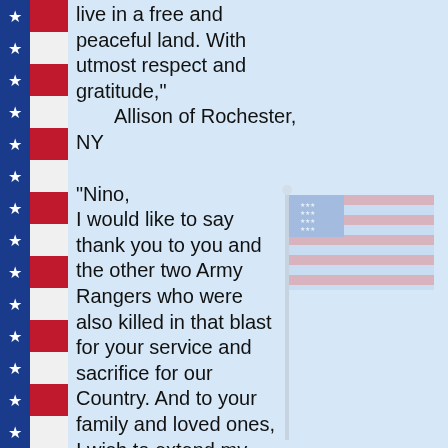[Figure (illustration): American flag border on the left side with blue field of stars and red/white stripes]
live in a free and peaceful land. With utmost respect and gratitude,"
        Allison of Rochester, NY
"Nino,
I would like to say thank you to you and the other two Army Rangers who were also killed in that blast for your service and sacrifice for our Country. And to your family and loved ones, I wish to extend my deepest sympathy.

Rangers Lead The Way!"
[Figure (illustration): Faded American flag with flagpole watermark]
"to the livaudias,
I'm sorry about your lost. i knew nino in